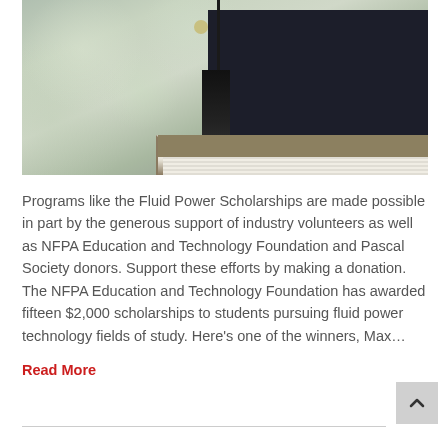[Figure (photo): Close-up photo of a graduation cap with black tassel hanging down, resting on a book, with a blurred green bokeh background]
Programs like the Fluid Power Scholarships are made possible in part by the generous support of industry volunteers as well as NFPA Education and Technology Foundation and Pascal Society donors. Support these efforts by making a donation. The NFPA Education and Technology Foundation has awarded fifteen $2,000 scholarships to students pursuing fluid power technology fields of study. Here's one of the winners, Max…
Read More